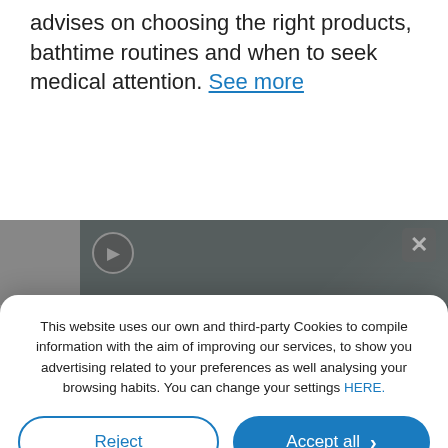advises on choosing the right products, bathtime routines and when to seek medical attention. See more
[Figure (screenshot): Partial video thumbnail showing hands, with grey background and close (×) button overlay]
This website uses our own and third-party Cookies to compile information with the aim of improving our services, to show you advertising related to your preferences as well analysing your browsing habits. You can change your settings HERE.
Reject
Accept all
Custom configuration | Cookies Policy | Privacy Policy
2022-08-19